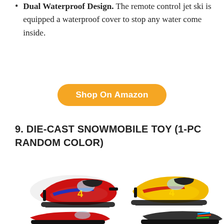Dual Waterproof Design. The remote control jet ski is equipped a waterproof cover to stop any water come inside.
Shop On Amazon
9. DIE-CAST SNOWMOBILE TOY (1-PC RANDOM COLOR)
[Figure (photo): Four die-cast snowmobile toys shown from above: two red and one yellow in the upper portion, two more (red and another color) partially visible at the bottom. The snowmobiles have colorful graphics with number 4 markings.]